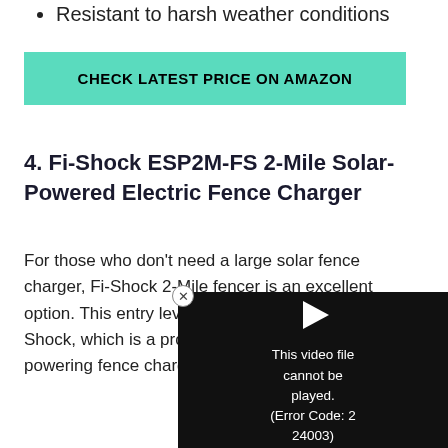Resistant to harsh weather conditions
CHECK LATEST PRICE ON AMAZON
4. Fi-Shock ESP2M-FS 2-Mile Solar-Powered Electric Fence Charger
For those who don't need a large solar fence charger, Fi-Shock 2-Mile fencer is an excellent option. This entry level charger is a product of Fi-Shock, which is a producing electric maximum powering fence charger is id covering many mi
[Figure (screenshot): Video player overlay showing error message: 'This video file cannot be played. (Error Code: 2 24003)']